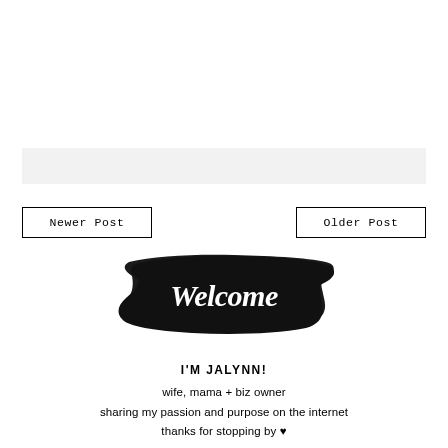[Figure (other): Light gray horizontal bar background element]
Newer Post
Older Post
[Figure (illustration): Black brushstroke banner with white handwritten script text reading 'Welcome']
I'M JALYNN!
wife, mama + biz owner
sharing my passion and purpose on the internet
thanks for stopping by ♥